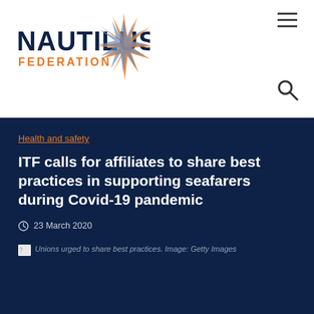[Figure (logo): Nautilus Federation logo with dark blue NAUTILUS text and orange FEDERATION text below, with a stylized compass/star graphic to the right]
Nautilus Federation website header with logo, hamburger menu, and search icon
Health and safety
ITF calls for affiliates to share best practices in supporting seafarers during Covid-19 pandemic
23 March 2020
Unions urged to share best practices. Image: Getty Images